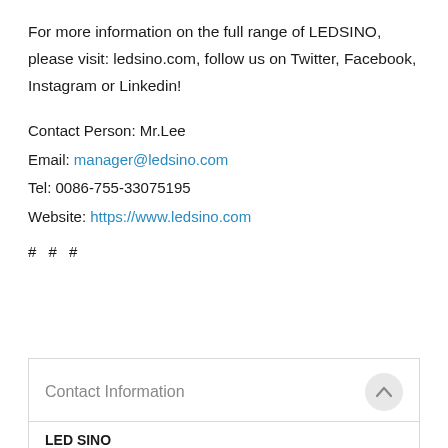For more information on the full range of LEDSINO, please visit: ledsino.com, follow us on Twitter, Facebook, Instagram or Linkedin!
Contact Person: Mr.Lee
Email: manager@ledsino.com
Tel: 0086-755-33075195
Website: https://www.ledsino.com
# # #
Contact Information
LED SINO
LEDSINO